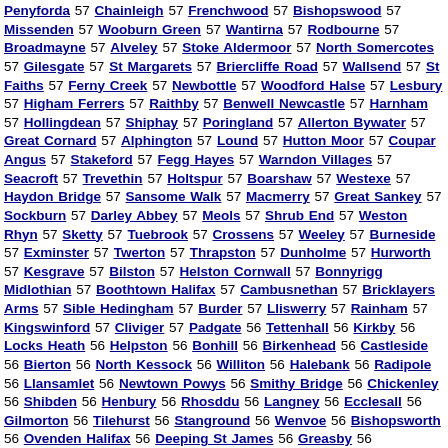Penyforda 57 Chainleigh 57 Frenchwood 57 Bishopswood 57 Missenden 57 Wooburn Green 57 Wantirna 57 Rodbourne 57 Broadmayne 57 Alveley 57 Stoke Aldermoor 57 North Somercotes 57 Gilesgate 57 St Margarets 57 Briercliffe Road 57 Wallsend 57 St Faiths 57 Ferny Creek 57 Newbottle 57 Woodford Halse 57 Lesbury 57 Higham Ferrers 57 Raithby 57 Benwell Newcastle 57 Harnham 57 Hollingdean 57 Shiphay 57 Poringland 57 Allerton Bywater 57 Great Cornard 57 Alphington 57 Lound 57 Hutton Moor 57 Coupar Angus 57 Stakeford 57 Fegg Hayes 57 Warndon Villages 57 Seacroft 57 Trevethin 57 Holtspur 57 Boarshaw 57 Westexe 57 Haydon Bridge 57 Sansome Walk 57 Macmerry 57 Great Sankey 57 Sockburn 57 Darley Abbey 57 Meols 57 Shrub End 57 Weston Rhyn 57 Sketty 57 Tuebrook 57 Crossens 57 Weeley 57 Burneside 57 Exminster 57 Twerton 57 Thrapston 57 Dunholme 57 Hurworth 57 Kesgrave 57 Bilston 57 Helston Cornwall 57 Bonnyrigg Midlothian 57 Boothtown Halifax 57 Cambusnethan 57 Bricklayers Arms 57 Sible Hedingham 57 Burder 57 Lliswerry 57 Rainham 57 Kingswinford 57 Cliviger 57 Padgate 56 Tettenhall 56 Kirkby 56 Locks Heath 56 Helpston 56 Bonhill 56 Birkenhead 56 Castleside 56 Bierton 56 North Kessock 56 Williton 56 Halebank 56 Radipole 56 Llansamlet 56 Newtown Powys 56 Smithy Bridge 56 Chickenley 56 Shibden 56 Henbury 56 Rhosddu 56 Langney 56 Ecclesall 56 Gilmorton 56 Tilehurst 56 Stanground 56 Wenvoe 56 Bishopsworth 56 Ovenden Halifax 56 Deeping St James 56 Greasby 56 Beechfield 56 Ropley 56 Elmswell 56 Cleolands 56 Great Shelford 56 Dogshorpe